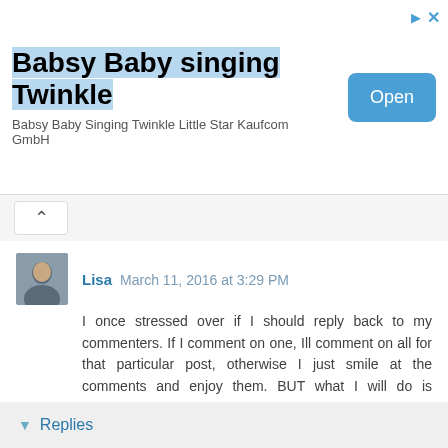[Figure (screenshot): Advertisement banner for 'Babsy Baby singing Twinkle' app with blue highlighted title, subtitle 'Babsy Baby Singing Twinkle Little Star Kaufcom GmbH', and a blue 'Open' button. Two small icons in the top right corner.]
Babsy Baby singing Twinkle
Babsy Baby Singing Twinkle Little Star Kaufcom GmbH
Open
Lisa March 11, 2016 at 3:29 PM
I once stressed over if I should reply back to my commenters. If I comment on one, Ill comment on all for that particular post, otherwise I just smile at the comments and enjoy them. BUT what I will do is comment for comment. Everyone who leaves me a comment and return one on their blog. I have learned of a few people I know that reply to all comments and so I will check back to see a reply.
Love your blog by the way.
Lisa :)
Reply
Replies